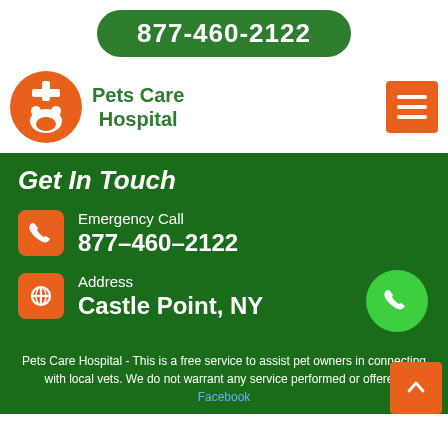877-460-2122
[Figure (logo): Pets Care Hospital logo — orange circle with white pet silhouette and plus sign]
Pets Care Hospital
Get In Touch
Emergency Call
877-460-2122
Address
Castle Point, NY
Pets Care Hospital - This is a free service to assist pet owners in connecting with local vets. We do not warrant any service performed or offered. Facebook